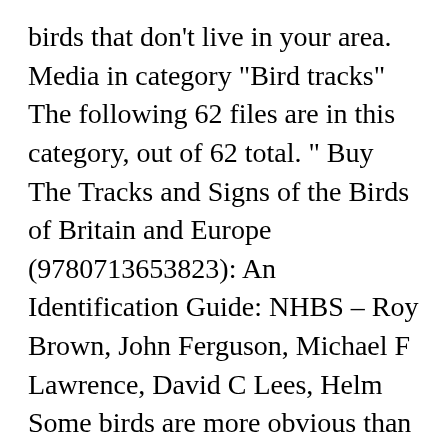birds that don't live in your area. Media in category "Bird tracks" The following 62 files are in this category, out of 62 total. " Buy The Tracks and Signs of the Birds of Britain and Europe (9780713653823): An Identification Guide: NHBS – Roy Brown, John Ferguson, Michael F Lawrence, David C Lees, Helm Some birds are more obvious than others. RED FOX. December 8, 2020 . 456 Pages. Spot game bird tracks by their 3 distinct toes. Even though spotting animals at night is sometimes very difficult, even the stealthiest beasts can leave clues behind. Starting and submitting a checklist is as easy as a few taps on the screen. 1) Classic bird tracks.These tracks will show three digits pointing forward and one